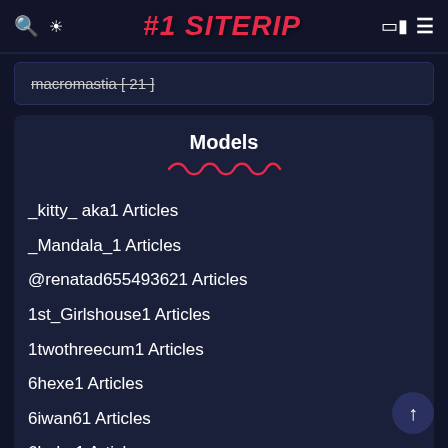#1 SITERIP
macromastia [ 21 ]
Models
_kitty_ aka1 Articles
_Mandala_1 Articles
@renatad655493621 Articles
1st_Girlshouse1 Articles
1twothreecum1 Articles
6hexe1 Articles
6iwan61 Articles
6luder1 Articles
Aahegao1 Articles
Aaliyah Hadid1 Articles